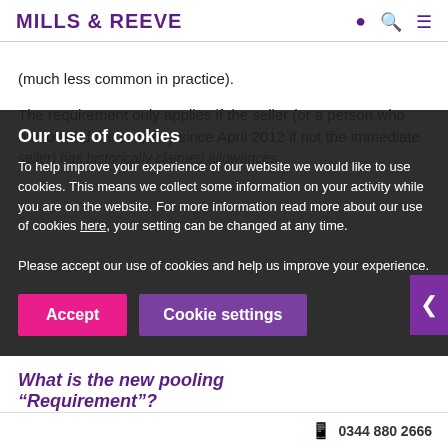MILLS & REEVE
(much less common in practice).
The requirement only applies if the seller (or a person who has owned the property since April 2012 if not the immediate seller) has historically claimed allowances.
The new 'pooling requirement' was driven by the some time as this fixed value requirement, but its implementation was waived by No. 10 — so it has only just come into force now.
What is the new pooling "Requirement"?
Our use of cookies
To help improve your experience of our website we would like to use cookies. This means we collect some information on your activity while you are on the website. For more information read more about our use of cookies here, your setting can be changed at any time. Please accept our use of cookies and help us improve your experience.
Accept
Cookie settings
0344 880 2666